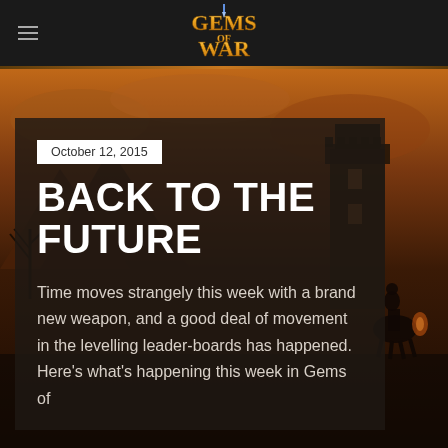Gems of War
October 12, 2015
BACK TO THE FUTURE
Time moves strangely this week with a brand new weapon, and a good deal of movement in the levelling leader-boards has happened. Here's what's happening this week in Gems of